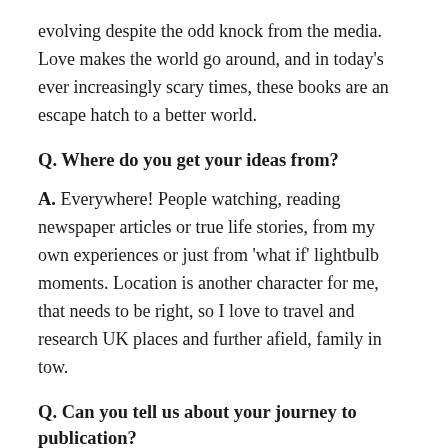evolving despite the odd knock from the media. Love makes the world go around, and in today’s ever increasingly scary times, these books are an escape hatch to a better world.
Q. Where do you get your ideas from?
A. Everywhere! People watching, reading newspaper articles or true life stories, from my own experiences or just from ‘what if’ lightbulb moments. Location is another character for me, that needs to be right, so I love to travel and research UK places and further afield, family in tow.
Q. Can you tell us about your journey to publication?
A. My break was entering the Mills & Boon Competition in Prima Magazine. They were looking for their next writer for Flirty Fiction. I had an idea, so I wrote it up, sent it off, and